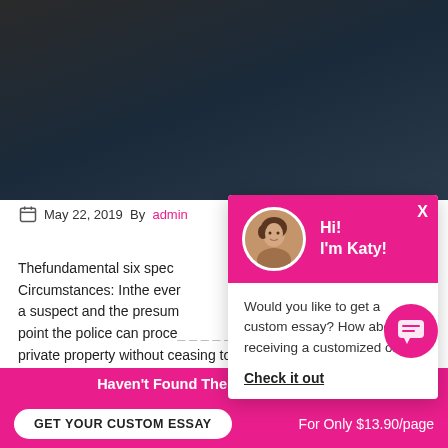[Figure (photo): Dark header background image with blue-grey tones]
May 22, 2019  By admin
Thefundamental six spec Circumstances: Inthe ever a suspect and the presum point the police can proce private property without ceasing to get a warrant. F
[Figure (screenshot): Chat popup with Katy avatar, pink header saying Hi! I'm Katy!, body text: Would you like to get a custom essay? How about receiving a customized one? Check it out]
Haven't Found The Essay You Want?
GET YOUR CUSTOM ESSAY
For Only $13.90/page